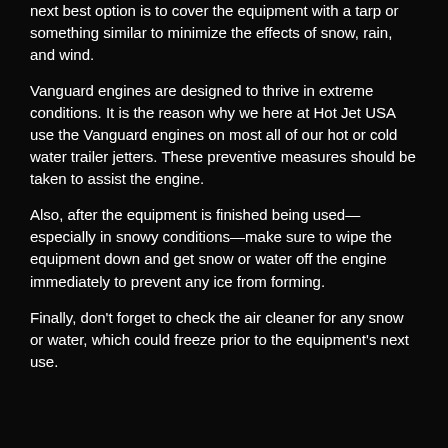next best option is to cover the equipment with a tarp or something similar to minimize the effects of snow, rain, and wind.
Vanguard engines are designed to thrive in extreme conditions. It is the reason why we here at Hot Jet USA use the Vanguard engines on most all of our hot or cold water trailer jetters. These preventive measures should be taken to assist the engine.
Also, after the equipment is finished being used—especially in snowy conditions—make sure to wipe the equipment down and get snow or water off the engine immediately to prevent any ice from forming.
Finally, don't forget to check the air cleaner for any snow or water, which could freeze prior to the equipment's next use.